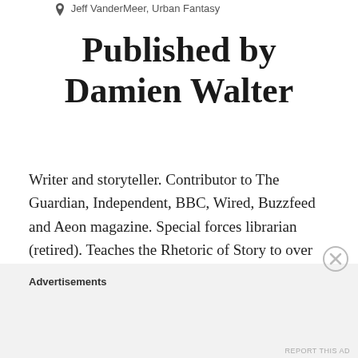Jeff VanderMeer, Urban Fantasy
Published by Damien Walter
Writer and storyteller. Contributor to The Guardian, Independent, BBC, Wired, Buzzfeed and Aeon magazine. Special forces librarian (retired). Teaches the Rhetoric of Story to over 35,000 students worldwide. View more posts
Advertisements